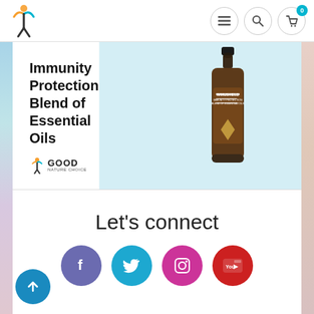Good Nature Choice - navigation header with logo, menu, search, cart icons
[Figure (photo): Immushield product: amber dropper bottle with text 'Immunity Protection Blend of Essential Oils' and Good Nature Choice logo]
Let's connect
[Figure (infographic): Four social media circular icons: Facebook (purple), Twitter (blue), Instagram (pink/magenta), YouTube (red)]